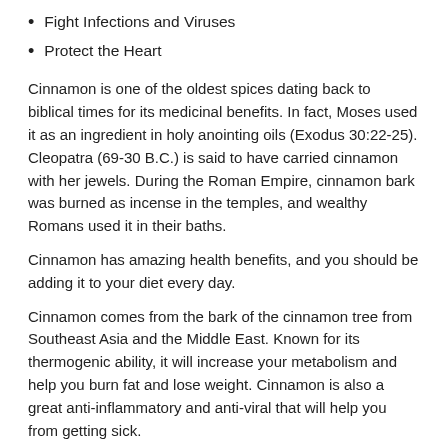Fight Infections and Viruses
Protect the Heart
Cinnamon is one of the oldest spices dating back to biblical times for its medicinal benefits. In fact, Moses used it as an ingredient in holy anointing oils (Exodus 30:22-25). Cleopatra (69-30 B.C.) is said to have carried cinnamon with her jewels. During the Roman Empire, cinnamon bark was burned as incense in the temples, and wealthy Romans used it in their baths.
Cinnamon has amazing health benefits, and you should be adding it to your diet every day.
Cinnamon comes from the bark of the cinnamon tree from Southeast Asia and the Middle East. Known for its thermogenic ability, it will increase your metabolism and help you burn fat and lose weight. Cinnamon is also a great anti-inflammatory and anti-viral that will help you from getting sick.
Work to add 1/4 to 1/2 tsp of cinnamon daily.
Easy ways to add cinnamon to your diet:
1. Add to your tea or coffee.